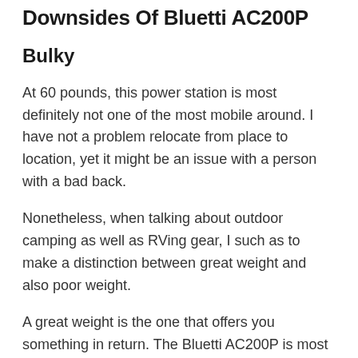Downsides Of Bluetti AC200P
Bulky
At 60 pounds, this power station is most definitely not one of the most mobile around. I have not a problem relocate from place to location, yet it might be an issue with a person with a bad back.
Nonetheless, when talking about outdoor camping as well as RVing gear, I such as to make a distinction between great weight and also poor weight.
A great weight is the one that offers you something in return. The Bluetti AC200P is most definitely good weight plenty of power plus the cutting side battery. Not to mention all the things